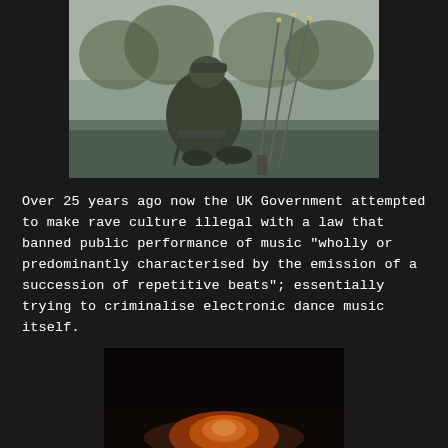[Figure (photo): A person sitting in a folding chair from behind, wearing a dark jacket and beanie hat, with fishing rods set up beside them near a misty lake or river with trees in the background]
Over 25 years ago now the UK Government attempted to make rave culture illegal with a law that banned public performance of music "wholly or predominantly characterised by the emission of a succession of repetitive beats"; essentially trying to criminalise electronic dance music itself.
[Figure (photo): A dark image showing what appears to be a glowing orange flame or light source against a very dark background]